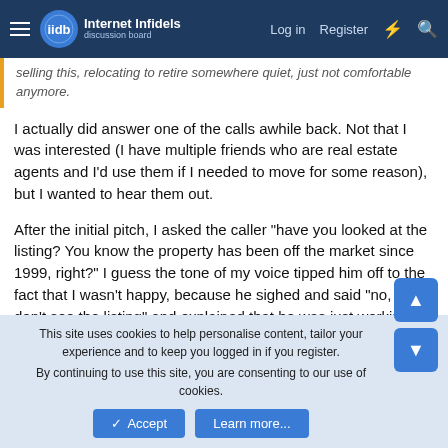Internet Infidels | Log in | Register
selling this, relocating to retire somewhere quiet, just not comfortable anymore.
I actually did answer one of the calls awhile back. Not that I was interested (I have multiple friends who are real estate agents and I'd use them if I needed to move for some reason), but I wanted to hear them out.

After the initial pitch, I asked the caller "have you looked at the listing? You know the property has been off the market since 1999, right?" I guess the tone of my voice tipped him off to the fact that I wasn't happy, because he sighed and said "no, sir, I don't see the listing" and explained that he was just working a call center job...going down lists of numbers and reading a script in case he stumbled across someone interested in making a quick sale.
This site uses cookies to help personalise content, tailor your experience and to keep you logged in if you register.
By continuing to use this site, you are consenting to our use of cookies.